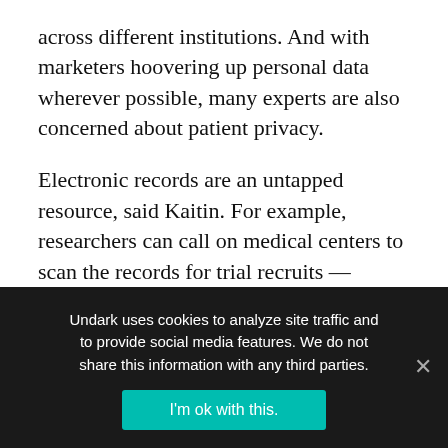across different institutions. And with marketers hoovering up personal data wherever possible, many experts are also concerned about patient privacy.
Electronic records are an untapped resource, said Kaitin. For example, researchers can call on medical centers to scan the records for trial recruits — typically, a time-consuming process, especially for rare diseases. And real-world evidence from electronic records could also be an efficient way to show that an approved drug works for other indications. The clinical trial to prove that the hypertension drug telmisartan (Micardis) worked as well
Undark uses cookies to analyze site traffic and to provide social media features. We do not share this information with any third parties.
I'm ok with this.